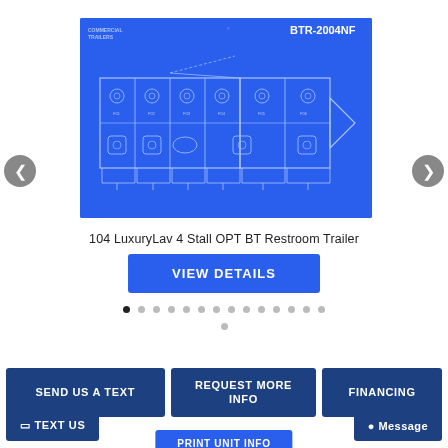[Figure (schematic): Blueprint schematic of BTR-2004NF trailer, showing top-down floor plan with stalls, fixtures, and hitch. Blue background with white line drawing. Labels: 'COMMERCIAL TRAILERS' top-left, 'BTR-2004NF' top-right.]
104 LuxuryLav 4 Stall OPT BT Restroom Trailer
VIEW DETAILS
SEND US A TEXT
REQUEST MORE INFO
FINANCING
TEXT US
Message
PRINT UNIT INFO